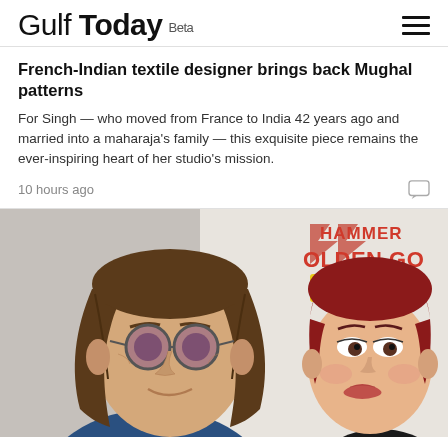Gulf Today Beta
French-Indian textile designer brings back Mughal patterns
For Singh — who moved from France to India 42 years ago and married into a maharaja's family — this exquisite piece remains the ever-inspiring heart of her studio's mission.
10 hours ago
[Figure (photo): Photo of two people (man with long hair and round sunglasses, woman with short red hair) in front of a Metal Hammer Golden Gods backdrop]